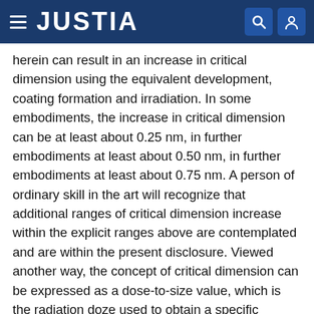JUSTIA
herein can result in an increase in critical dimension using the equivalent development, coating formation and irradiation. In some embodiments, the increase in critical dimension can be at least about 0.25 nm, in further embodiments at least about 0.50 nm, in further embodiments at least about 0.75 nm. A person of ordinary skill in the art will recognize that additional ranges of critical dimension increase within the explicit ranges above are contemplated and are within the present disclosure. Viewed another way, the concept of critical dimension can be expressed as a dose-to-size value, which is the radiation doze used to obtain a specific feature size. So an increase in critical dimension corresponds with a decrease in the dose-to-size value.
After forming a patterned coating material, the coating material can be further processed to facilitate formation